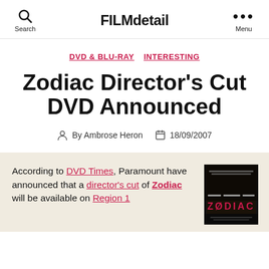FILMdetail | Search | Menu
DVD & BLU-RAY   INTERESTING
Zodiac Director's Cut DVD Announced
By Ambrose Heron   18/09/2007
According to DVD Times, Paramount have announced that a director's cut of Zodiac will be available on Region 1
[Figure (photo): Zodiac movie poster with dark background and red text reading ZODIAC]